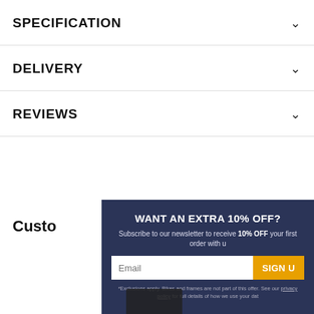SPECIFICATION
DELIVERY
REVIEWS
Custo
WANT AN EXTRA 10% OFF? Subscribe to our newsletter to receive 10% OFF your first order with u. *Exclusions apply. Bikes and frames are not part of this offer. See our privacy policy for full details of how we use your dat